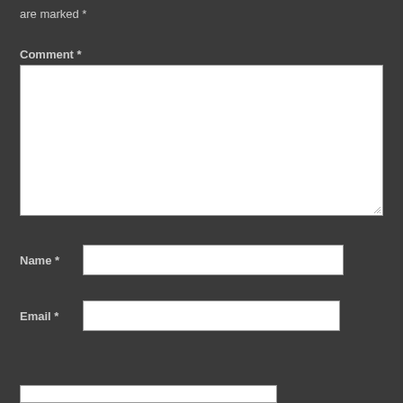are marked *
Comment *
[Figure (screenshot): Comment text area input field, large white rectangle with resize handle]
Name *
[Figure (screenshot): Name text input field, white rectangle]
Email *
[Figure (screenshot): Email text input field, white rectangle]
[Figure (screenshot): Partial input field visible at bottom of page]